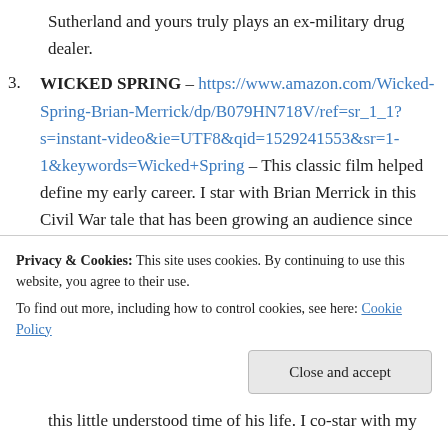Sutherland and yours truly plays an ex-military drug dealer.
3. WICKED SPRING – https://www.amazon.com/Wicked-Spring-Brian-Merrick/dp/B079HN718V/ref=sr_1_1?s=instant-video&ie=UTF8&qid=1529241553&sr=1-1&keywords=Wicked+Spring – This classic film helped define my early career. I star with Brian Merrick in this Civil War tale that has been growing an audience since early 2000's on TV and home video.
4. FORTY NIGHTS – https://www.amazon.com/Forty-Nights-DJ-Perry/dp/B07555FR6R/ref=sr_1_1?
Privacy & Cookies: This site uses cookies. By continuing to use this website, you agree to their use. To find out more, including how to control cookies, see here: Cookie Policy
this little understood time of his life. I co-star with my